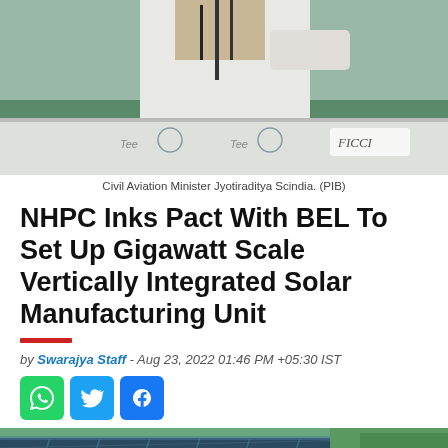[Figure (photo): Civil Aviation Minister Jyotiraditya Scindia speaking at a podium with FICCI branding, wearing a white shirt]
Civil Aviation Minister Jyotiraditya Scindia. (PIB)
NHPC Inks Pact With BEL To Set Up Gigawatt Scale Vertically Integrated Solar Manufacturing Unit
by Swarajya Staff - Aug 23, 2022 01:46 PM +05:30 IST
[Figure (photo): Solar panels in a field with green grass in the background]